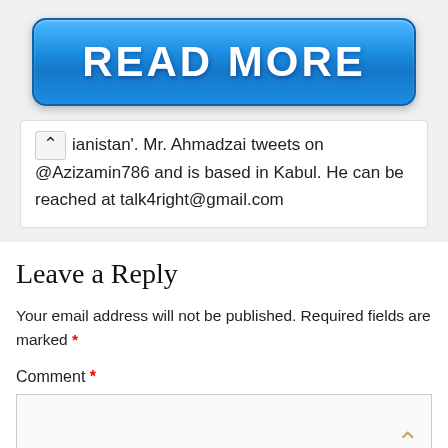[Figure (screenshot): Blue 'READ MORE' button with white bold text and glossy gradient styling]
ianistan'. Mr. Ahmadzai tweets on @Azizamin786 and is based in Kabul. He can be reached at talk4right@gmail.com
Leave a Reply
Your email address will not be published. Required fields are marked *
Comment *